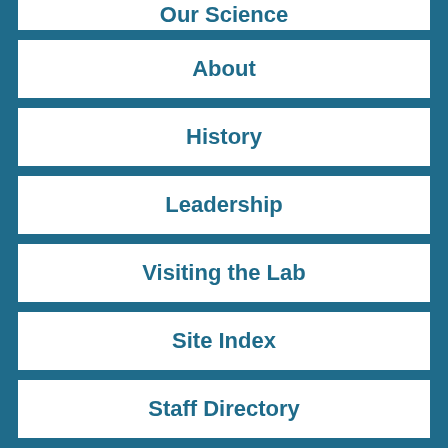Our Science
About
History
Leadership
Visiting the Lab
Site Index
Staff Directory